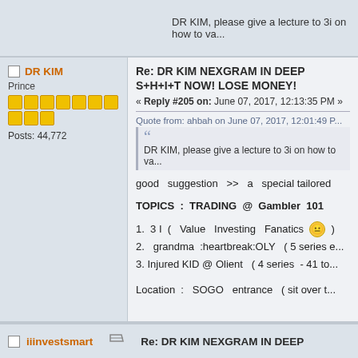DR KIM, please give a lecture to 3i on how to va...
DR KIM
Prince
Posts: 44,772
Re: DR KIM NEXGRAM IN DEEP S+H+I+T NOW! LOSE MONEY!
« Reply #205 on: June 07, 2017, 12:13:35 PM »
Quote from: ahbah on June 07, 2017, 12:01:49 P...
DR KIM, please give a lecture to 3i on how to va...
good  suggestion  >>  a  special tailored
TOPICS : TRADING @ Gambler 101
1. 3 I (  Value  Investing  Fanatics 😐 )
2.  grandma  :heartbreak:OLY  ( 5 series e...
3. Injured KID @ Olient   ( 4 series  - 41 to...
Location :  SOGO  entrance  ( sit over t...
iiinvestsmart
Re: DR KIM NEXGRAM IN DEEP